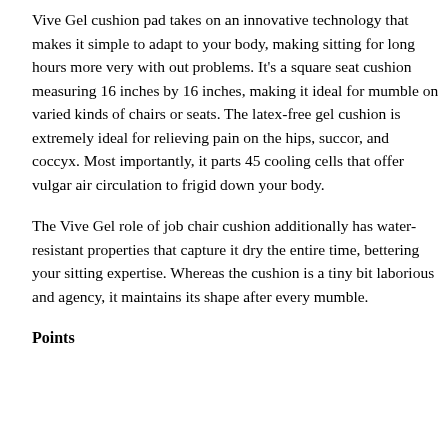Vive Gel cushion pad takes on an innovative technology that makes it simple to adapt to your body, making sitting for long hours more very with out problems. It's a square seat cushion measuring 16 inches by 16 inches, making it ideal for mumble on varied kinds of chairs or seats. The latex-free gel cushion is extremely ideal for relieving pain on the hips, succor, and coccyx. Most importantly, it parts 45 cooling cells that offer vulgar air circulation to frigid down your body.
The Vive Gel role of job chair cushion additionally has water-resistant properties that capture it dry the entire time, bettering your sitting expertise. Whereas the cushion is a tiny bit laborious and agency, it maintains its shape after every mumble.
Points